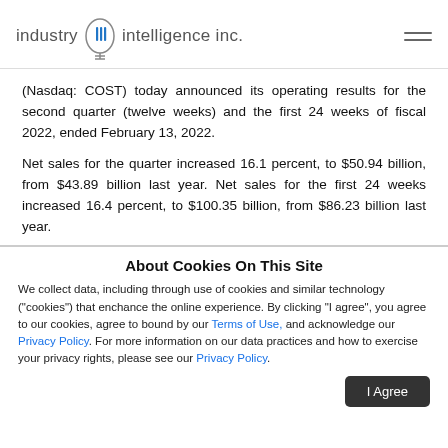industry iii intelligence inc.
(Nasdaq: COST) today announced its operating results for the second quarter (twelve weeks) and the first 24 weeks of fiscal 2022, ended February 13, 2022.
Net sales for the quarter increased 16.1 percent, to $50.94 billion, from $43.89 billion last year. Net sales for the first 24 weeks increased 16.4 percent, to $100.35 billion, from $86.23 billion last year.
About Cookies On This Site
We collect data, including through use of cookies and similar technology ("cookies") that enchance the online experience. By clicking "I agree", you agree to our cookies, agree to bound by our Terms of Use, and acknowledge our Privacy Policy. For more information on our data practices and how to exercise your privacy rights, please see our Privacy Policy.